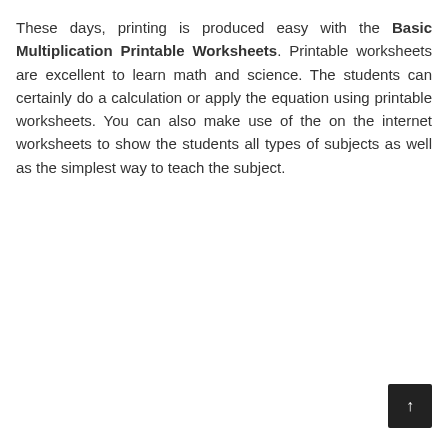These days, printing is produced easy with the Basic Multiplication Printable Worksheets. Printable worksheets are excellent to learn math and science. The students can certainly do a calculation or apply the equation using printable worksheets. You can also make use of the on the internet worksheets to show the students all types of subjects as well as the simplest way to teach the subject.